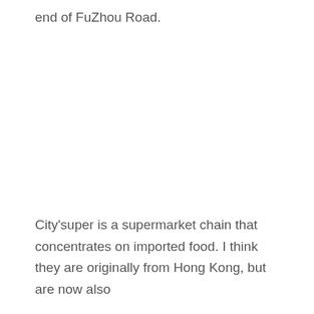end of FuZhou Road.
City'super is a supermarket chain that concentrates on imported food. I think they are originally from Hong Kong, but are now also